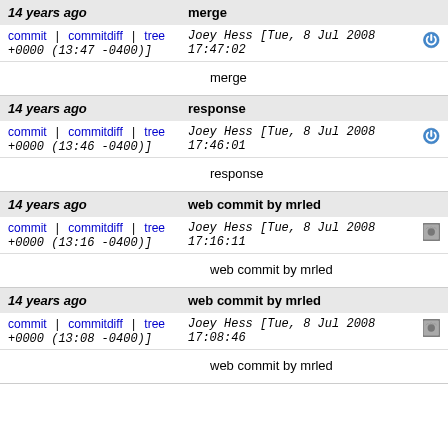14 years ago | merge
commit | commitdiff | tree +0000 (13:47 -0400)] Joey Hess [Tue, 8 Jul 2008 17:47:02 +0000 (13:47 -0400)]
merge
14 years ago | response
commit | commitdiff | tree +0000 (13:46 -0400)] Joey Hess [Tue, 8 Jul 2008 17:46:01 +0000 (13:46 -0400)]
response
14 years ago | web commit by mrled
commit | commitdiff | tree +0000 (13:16 -0400)] Joey Hess [Tue, 8 Jul 2008 17:16:11 +0000 (13:16 -0400)]
web commit by mrled
14 years ago | web commit by mrled
commit | commitdiff | tree +0000 (13:08 -0400)] Joey Hess [Tue, 8 Jul 2008 17:08:46 +0000 (13:08 -0400)]
web commit by mrled